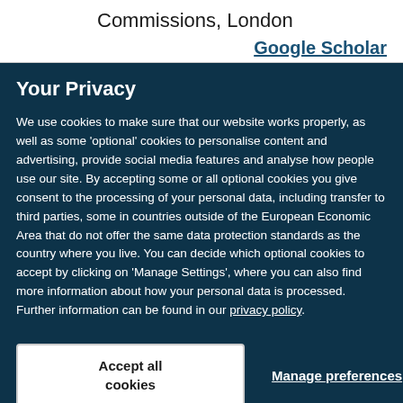Commissions, London
Google Scholar
Your Privacy
We use cookies to make sure that our website works properly, as well as some ‘optional’ cookies to personalise content and advertising, provide social media features and analyse how people use our site. By accepting some or all optional cookies you give consent to the processing of your personal data, including transfer to third parties, some in countries outside of the European Economic Area that do not offer the same data protection standards as the country where you live. You can decide which optional cookies to accept by clicking on ‘Manage Settings’, where you can also find more information about how your personal data is processed. Further information can be found in our privacy policy.
Accept all cookies
Manage preferences